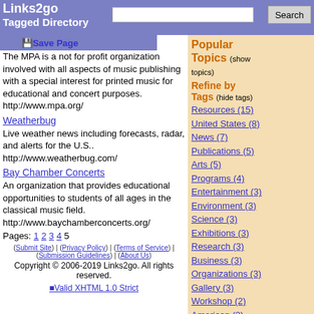Links2go Tagged Directory
The MPA is a not for profit organization involved with all aspects of music publishing with a special interest for printed music for educational and concert purposes. http://www.mpa.org/
Weatherbug
Live weather news including forecasts, radar, and alerts for the U.S..
http://www.weatherbug.com/
Bay Chamber Concerts
An organization that provides educational opportunities to students of all ages in the classical music field.
http://www.baychamberconcerts.org/
Pages: 1 2 3 4 5
(Submit Site) | (Privacy Policy) | (Terms of Service) | (Submission Guidelines) | (About Us)
Copyright © 2006-2019 Links2go. All rights reserved.
[Figure (other): Valid XHTML 1.0 Strict badge]
Popular Topics (show topics)
Refine by Tags (hide tags)
Resources (15)
United States (8)
News (7)
Publications (5)
Arts (5)
Programs (4)
Entertainment (3)
Environment (3)
Science (3)
Exhibitions (3)
Research (3)
Business (3)
Organizations (3)
Gallery (3)
Workshop (2)
American (2)
Careers (2)
Native (2)